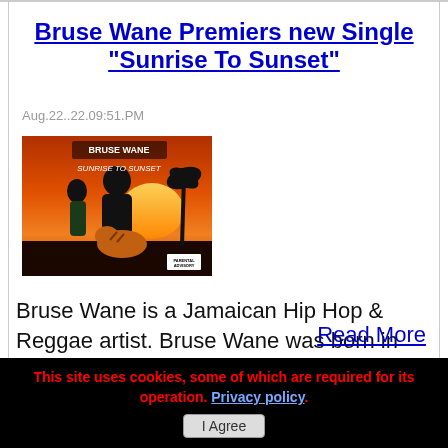Bruse Wane Premiers new Single "Sunrise To Sunset"
Aug.22..22.09:51.PM
[Figure (photo): Album cover art for Bruse Wane's 'Sunrise To Sunset' single showing figures against a sunset background with a tiger]
Bruse Wane is a Jamaican Hip Hop & Reggae artist. Bruse Wane was born in Kingston, Jamaica in the Parish of St. Andrews. He immigrated to America at a
Read More
This site uses cookies, some of which are required for its operation. Privacy policy. I Agree